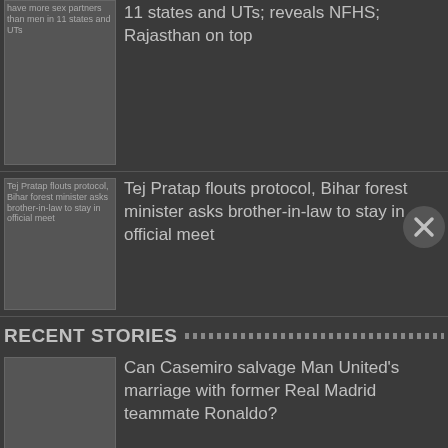[Figure (photo): Thumbnail image for article about women having more sex partners than men in 11 states]
have more sex partners than men in 11 states and UTs
11 states and UTs; reveals NFHS; Rajasthan on top
[Figure (photo): Thumbnail: Tej Pratap flouts protocol, Bihar forest minister asks brother-in-law to stay in official meet]
Tej Pratap flouts protocol, Bihar forest minister asks brother-in-law to stay in official meet
RECENT STORIES
Can Casemiro salvage Man United's marriage with former Real Madrid teammate Ronaldo?
Sexy video, pictures: Malaika Arora looks drop-dead gorgeous in orange, flaunts hot legs
[Figure (photo): Thumbnail: football epl Cristiano Ronaldo is in Man United's plans]
Cristiano Ronaldo is in Man United's plans, reiterates Erik ten Hag ahead of Liverpool clash